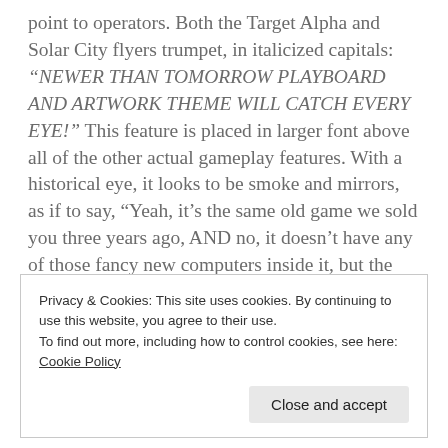point to operators. Both the Target Alpha and Solar City flyers trumpet, in italicized capitals: “NEWER THAN TOMORROW PLAYBOARD AND ARTWORK THEME WILL CATCH EVERY EYE!” This feature is placed in larger font above all of the other actual gameplay features. With a historical eye, it looks to be smoke and mirrors, as if to say, “Yeah, it’s the same old game we sold you three years ago, AND no, it doesn’t have any of those fancy new computers inside it, but the game looks like it came from the future, doesn’t it?” The next two multi-player games, Jet Spin and Super Spin, subscribe to this same “blind them with science” mentality in the artwork (at least they
Privacy & Cookies: This site uses cookies. By continuing to use this website, you agree to their use.
To find out more, including how to control cookies, see here: Cookie Policy
Close and accept